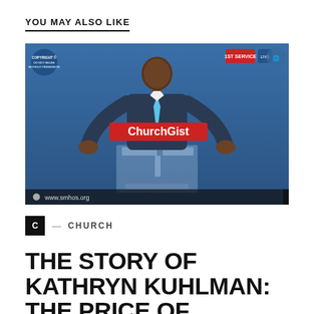YOU MAY ALSO LIKE
[Figure (photo): A man in a dark blue suit standing at a clear podium with a 'ChurchGist' watermark overlay. The background is blue. Bottom left shows 'www.smhos.org'. Top left shows a logo with text. Top right shows '1ST SERVICE' badge.]
C — CHURCH
THE STORY OF KATHRYN KUHLMAN: THE PRICE OF